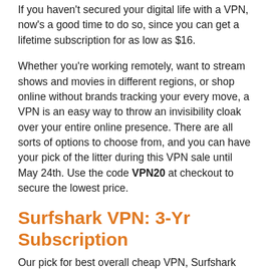If you haven't secured your digital life with a VPN, now's a good time to do so, since you can get a lifetime subscription for as low as $16.
Whether you're working remotely, want to stream shows and movies in different regions, or shop online without brands tracking your every move, a VPN is an easy way to throw an invisibility cloak over your entire online presence. There are all sorts of options to choose from, and you can have your pick of the litter during this VPN sale until May 24th. Use the code VPN20 at checkout to secure the lowest price.
Surfshark VPN: 3-Yr Subscription
Our pick for best overall cheap VPN, Surfshark offers unlimited simultaneous connections for complete browsing and streaming freedom for your entire household. With 3,200 servers in 65 countries, AES-256 encryption, and features like MultiHop and CleanWeb, you can sidestep geo-restrictions and browse with